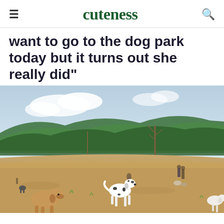cuteness
want to go to the dog park today but it turns out she really did"
[Figure (photo): Outdoor dog park scene with multiple dogs running and playing on a dry sandy field. People are visible in the background near trees and hills. A large Dalmatian and other dogs are in the foreground. Cloudy sky with green hillside in the background.]